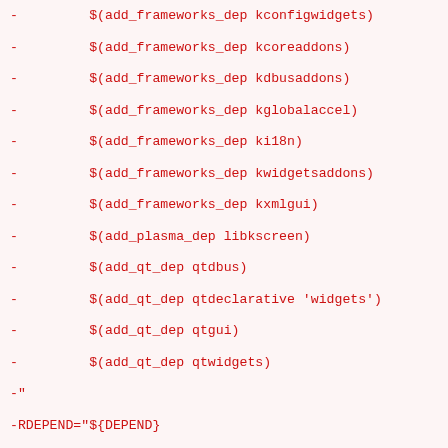-         $(add_frameworks_dep kconfigwidgets)
-         $(add_frameworks_dep kcoreaddons)
-         $(add_frameworks_dep kdbusaddons)
-         $(add_frameworks_dep kglobalaccel)
-         $(add_frameworks_dep ki18n)
-         $(add_frameworks_dep kwidgetsaddons)
-         $(add_frameworks_dep kxmlgui)
-         $(add_plasma_dep libkscreen)
-         $(add_qt_dep qtdbus)
-         $(add_qt_dep qtdeclarative 'widgets')
-         $(add_qt_dep qtgui)
-         $(add_qt_dep qtwidgets)
-"
-RDEPEND="${DEPEND}
-         $(add_frameworks_dep plasma)
-         $(add_plasma_dep kde-cli-tools)
-         $(add_qt_dep qtgraphicaleffects)
-         !kde-plasma/kscreen:4
-"
-
-# bug #580440, last checked 5.6.3
-RESTRICT+="test"